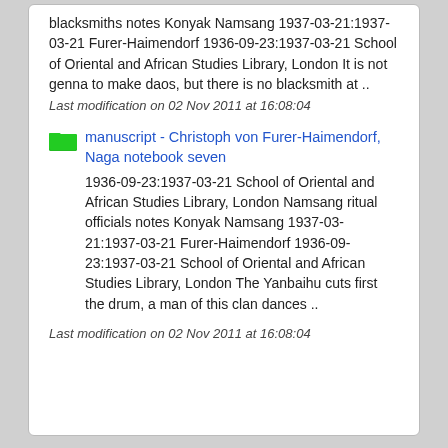blacksmiths notes Konyak Namsang 1937-03-21:1937-03-21 Furer-Haimendorf 1936-09-23:1937-03-21 School of Oriental and African Studies Library, London It is not genna to make daos, but there is no blacksmith at ..
Last modification on 02 Nov 2011 at 16:08:04
manuscript - Christoph von Furer-Haimendorf, Naga notebook seven
1936-09-23:1937-03-21 School of Oriental and African Studies Library, London Namsang ritual officials notes Konyak Namsang 1937-03-21:1937-03-21 Furer-Haimendorf 1936-09-23:1937-03-21 School of Oriental and African Studies Library, London The Yanbaihu cuts first the drum, a man of this clan dances ..
Last modification on 02 Nov 2011 at 16:08:04